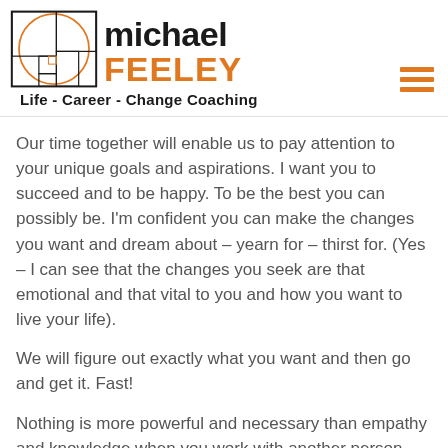[Figure (logo): Michael Feeley Life - Career - Change Coaching logo with Fibonacci spiral graphic]
Our time together will enable us to pay attention to your unique goals and aspirations. I want you to succeed and to be happy. To be the best you can possibly be. I'm confident you can make the changes you want and dream about – yearn for – thirst for. (Yes – I can see that the changes you seek are that emotional and that vital to you and how you want to live your life).
We will figure out exactly what you want and then go and get it. Fast!
Nothing is more powerful and necessary than empathy and knowledge when you work with another person. This is really the essence of what I offer you.
I won't kid you – change is challenging and scary. It takes